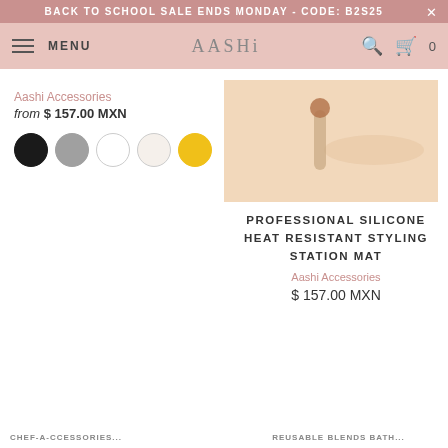BACK TO SCHOOL SALE ENDS MONDAY - CODE: B2S25 ×
MENU   AASHi   🔍 🛒 0
[Figure (photo): Product image of silicone mat with rounded edges on beige background]
Aashi Accessories
from $ 157.00 MXN
[Figure (other): Five color swatches: black, gray, white, off-white, yellow]
PROFESSIONAL SILICONE HEAT RESISTANT STYLING STATION MAT
Aashi Accessories
$ 157.00 MXN